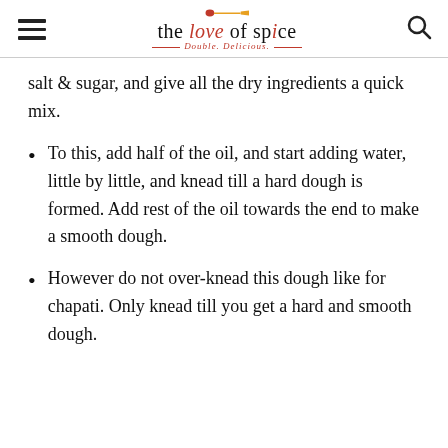the love of spice — Double. Delicious.
salt & sugar, and give all the dry ingredients a quick mix.
To this, add half of the oil, and start adding water, little by little, and knead till a hard dough is formed. Add rest of the oil towards the end to make a smooth dough.
However do not over-knead this dough like for chapati. Only knead till you get a hard and smooth dough.